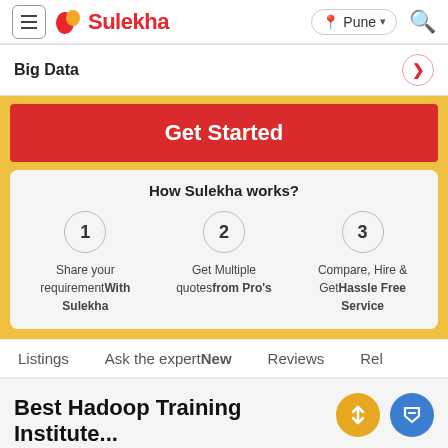Sulekha | Pune
Big Data
Get Started
How Sulekha works?
1 Share your requirement With Sulekha
2 Get Multiple quotes from Pro's
3 Compare, Hire & Get Hassle Free Service
Listings   Ask the expert New   Reviews   Rel
Best Hadoop Training Institute...
as on Aug 29, 2022